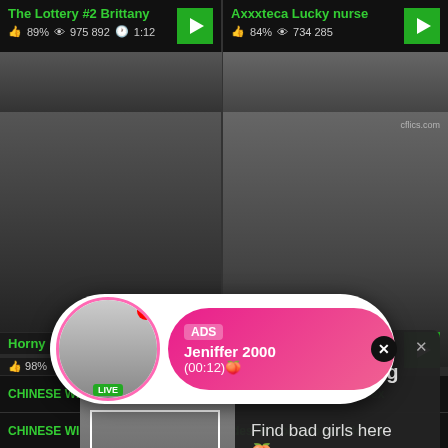The Lottery #2 Brittany
👍 89%  👁 975 892  🕐 1:12
Axxxteca Lucky nurse
👍 84%  👁 734 285
[Figure (screenshot): Adult video thumbnail grid showing two video previews in top row and two in middle row]
[Figure (infographic): Ad popup overlay with webcam-style photo of woman taking selfie with REC indicator, text: ADS • 💋 Dating for men! Find bad girls here 💋]
[Figure (infographic): Notification bubble ad: avatar with LIVE badge, pink gradient background, ADS label, Jeniffer 2000, (00:12)💋]
CHINESE WIFE BLINDFOLD
desi bhabi arab couple sex